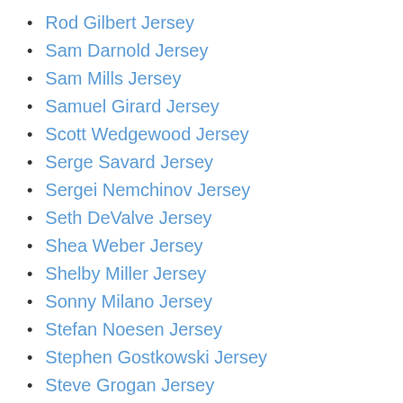Rod Gilbert Jersey
Sam Darnold Jersey
Sam Mills Jersey
Samuel Girard Jersey
Scott Wedgewood Jersey
Serge Savard Jersey
Sergei Nemchinov Jersey
Seth DeValve Jersey
Shea Weber Jersey
Shelby Miller Jersey
Sonny Milano Jersey
Stefan Noesen Jersey
Stephen Gostkowski Jersey
Steve Grogan Jersey
Steve McNair Jersey
T. J. Leaf Jersey
TJ. Yeldon Jersey
Teemu Selanne Jersey
Tennessee Titans
Tevin Coleman Jersey